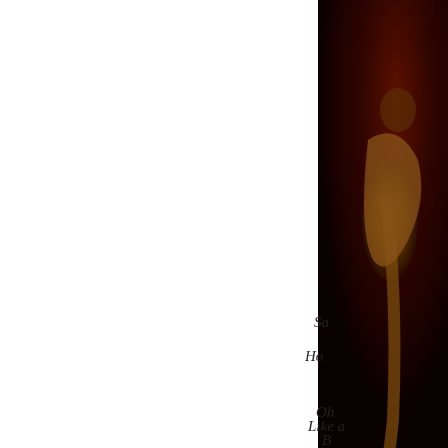[Figure (photo): A dark, moody photographic image of a person in a crouching or seated pose against a reddish-dark background, partially cropped at the right edge of the page. The figure appears bronzed or golden-toned against deep red and black tones.]
Sa
Ho
Oh
Like a
B